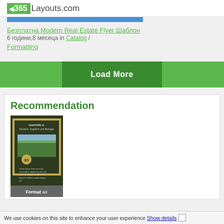365Layouts.com
Безплатна Modern Real Estate Flyer Шаблон
6 години,8 месеца in Catalog / Formatting
[Figure (screenshot): Load More green button with darker green center]
Recommendation
[Figure (screenshot): Thumbnail of a flyer template with Format a4 label]
We use cookies on this site to enhance your user experience Show details